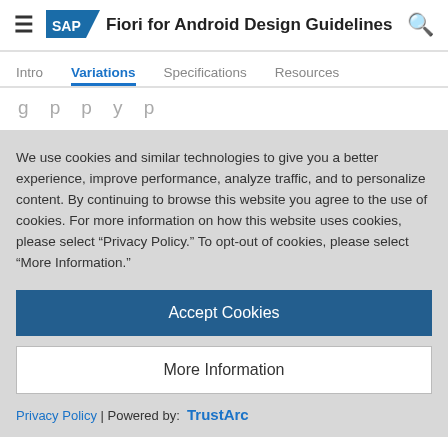SAP Fiori for Android Design Guidelines
Intro | Variations | Specifications | Resources
filled in the simple property cell. If needed, the user may edit the value directly.
Simple property form cell with scan
We use cookies and similar technologies to give you a better experience, improve performance, analyze traffic, and to personalize content. By continuing to browse this website you agree to the use of cookies. For more information on how this website uses cookies, please select “Privacy Policy.” To opt-out of cookies, please select “More Information.”
Accept Cookies
More Information
Privacy Policy | Powered by: TrustArc